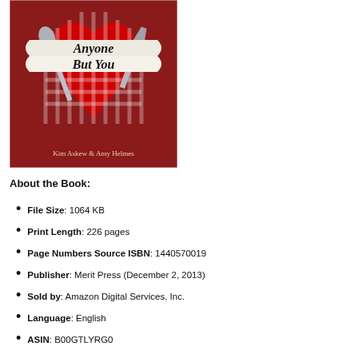[Figure (photo): Book cover of 'Anyone But You' by Kim Askew & Amy Helmes. Red background with crossed silverware (spoon and knife/spatula) and a red gingham heart. Title text on a ribbon banner reads 'Anyone But You'. Authors listed at the bottom: Kim Askew & Amy Helmes.]
About the Book:
File Size: 1064 KB
Print Length: 226 pages
Page Numbers Source ISBN: 1440570019
Publisher: Merit Press (December 2, 2013)
Sold by: Amazon Digital Services, Inc.
Language: English
ASIN: B00GTLYRG0